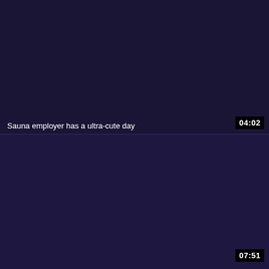[Figure (screenshot): Dark purple/navy video thumbnail panel (top half) with timestamp 04:02 in bottom-right corner]
Sauna employer has a ultra-cute day
[Figure (screenshot): Dark purple/navy video thumbnail panel (bottom half) with timestamp 07:51 in bottom-right corner]